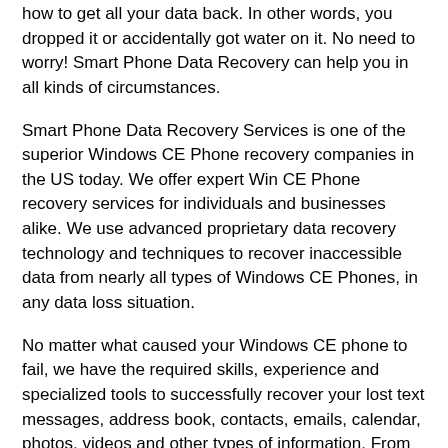how to get all your data back. In other words, you dropped it or accidentally got water on it. No need to worry! Smart Phone Data Recovery can help you in all kinds of circumstances.
Smart Phone Data Recovery Services is one of the superior Windows CE Phone recovery companies in the US today. We offer expert Win CE Phone recovery services for individuals and businesses alike. We use advanced proprietary data recovery technology and techniques to recover inaccessible data from nearly all types of Windows CE Phones, in any data loss situation.
No matter what caused your Windows CE phone to fail, we have the required skills, experience and specialized tools to successfully recover your lost text messages, address book, contacts, emails, calendar, photos, videos and other types of information. From system crash, accidental formatting or deletion, accidental drop, water damage, our Windows CE phone recovery specialists can retrieve damaged, inaccessible, lost data from Sim cards, SIM cards or Micro-SD